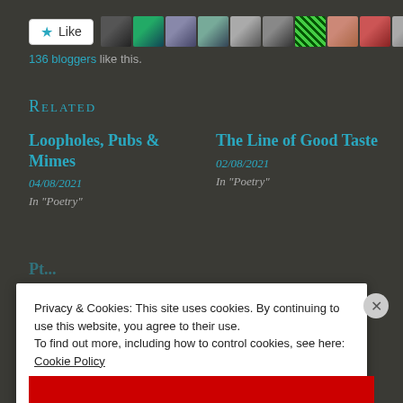[Figure (other): Like button with star icon and 10 blogger avatar thumbnails]
136 bloggers like this.
Related
Loopholes, Pubs & Mimes
04/08/2021
In "Poetry"
The Line of Good Taste
02/08/2021
In "Poetry"
Privacy & Cookies: This site uses cookies. By continuing to use this website, you agree to their use.
To find out more, including how to control cookies, see here: Cookie Policy
Close and accept